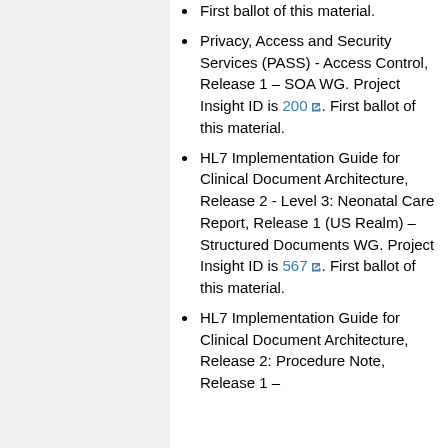First ballot of this material.
Privacy, Access and Security Services (PASS) - Access Control, Release 1 – SOA WG. Project Insight ID is 200. First ballot of this material.
HL7 Implementation Guide for Clinical Document Architecture, Release 2 - Level 3: Neonatal Care Report, Release 1 (US Realm) – Structured Documents WG. Project Insight ID is 567. First ballot of this material.
HL7 Implementation Guide for Clinical Document Architecture, Release 2: Procedure Note, Release 1 –